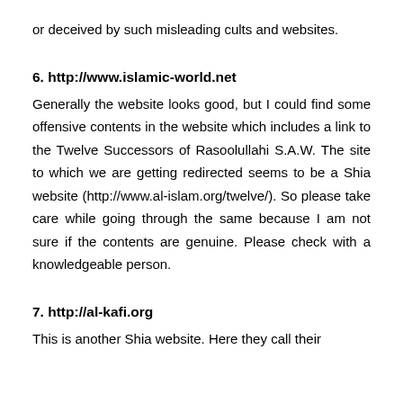or deceived by such misleading cults and websites.
6. http://www.islamic-world.net
Generally the website looks good, but I could find some offensive contents in the website which includes a link to the Twelve Successors of Rasoolullahi S.A.W. The site to which we are getting redirected seems to be a Shia website (http://www.al-islam.org/twelve/). So please take care while going through the same because I am not sure if the contents are genuine. Please check with a knowledgeable person.
7. http://al-kafi.org
This is another Shia website. Here they call their